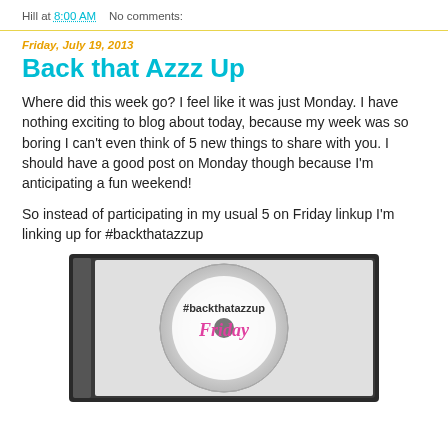Hill at 8:00 AM    No comments:
Friday, July 19, 2013
Back that Azzz Up
Where did this week go? I feel like it was just Monday. I have nothing exciting to blog about today, because my week was so boring I can't even think of 5 new things to share with you. I should have a good post on Monday though because I'm anticipating a fun weekend!
So instead of participating in my usual 5 on Friday linkup I'm linking up for #backthatazzup
[Figure (photo): A CD case image with a disc showing the text '#backthatazzup Friday' on it]